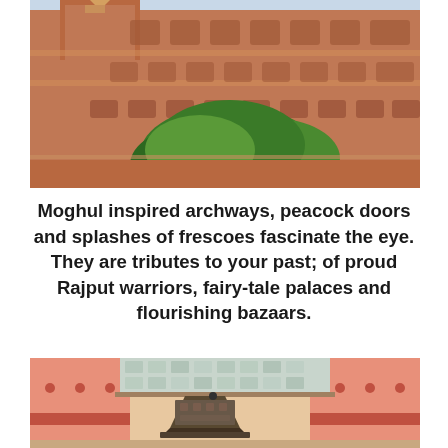[Figure (photo): Upward-angle photograph of the Hawa Mahal (Palace of Winds) in Jaipur, India — ornate terracotta-pink sandstone facade with Mughal-inspired arched windows, latticed screens, and elaborate carved decorations. Green leafy tree visible in lower portion against the building.]
Moghul inspired archways, peacock doors and splashes of frescoes fascinate the eye. They are tributes to your past; of proud Rajput warriors, fairy-tale palaces and flourishing bazaars.
[Figure (photo): Close-up photograph of a decorative Mughal-style archway gateway with intricate blue-and-white floral mosaic tile work on the upper section, a dark ornate carved canopy/chhatri, and pink/red painted walls on the sides.]